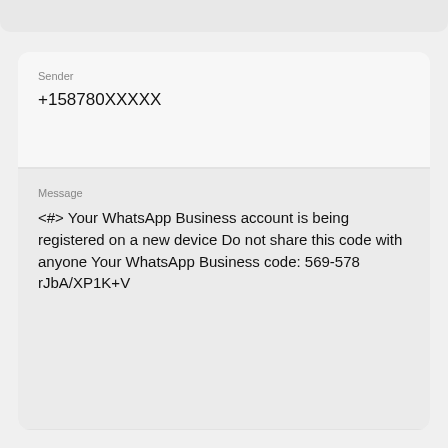Sender
+158780XXXXX
Message
<#> Your WhatsApp Business account is being registered on a new device Do not share this code with anyone Your WhatsApp Business code: 569-578 rJbA/XP1K+V
Time
2022-07-29 23:00:39